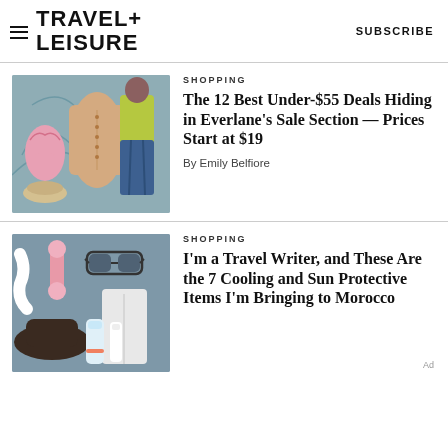TRAVEL+ LEISURE | SUBSCRIBE
SHOPPING
The 12 Best Under-$55 Deals Hiding in Everlane's Sale Section — Prices Start at $19
By Emily Belfiore
SHOPPING
I'm a Travel Writer, and These Are the 7 Cooling and Sun Protective Items I'm Bringing to Morocco